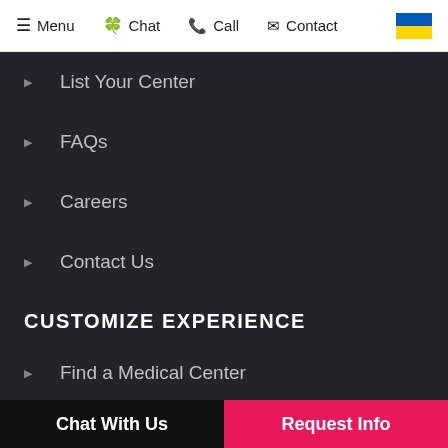Menu  Chat  Call  Contact
List Your Center
FAQs
Careers
Contact Us
CUSTOMIZE EXPERIENCE
Find a Medical Center
Find a Package
Explore Pricing
Chat With Us  Request Info